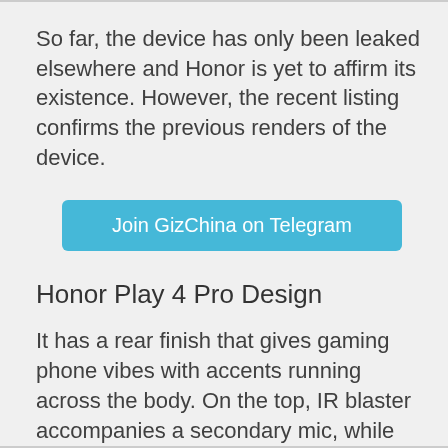So far, the device has only been leaked elsewhere and Honor is yet to affirm its existence. However, the recent listing confirms the previous renders of the device.
[Figure (other): A teal/blue button labeled 'Join GizChina on Telegram']
Honor Play 4 Pro Design
It has a rear finish that gives gaming phone vibes with accents running across the body. On the top, IR blaster accompanies a secondary mic, while the bottom has a Speaker, SIM card slot and a USB-C port for charging. Sadly, the 3.5mm headphone jack is missing. There is a fingerprint sensor